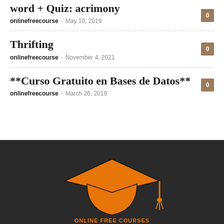word + Quiz: acrimony
onlinefreecourse - May 10, 2019
Thrifting
onlinefreecourse - November 4, 2021
**Curso Gratuito en Bases de Datos**
onlinefreecourse - March 26, 2019
[Figure (logo): Online Free Courses graduation cap logo in orange on dark background with text ONLINE FREE COURSES]